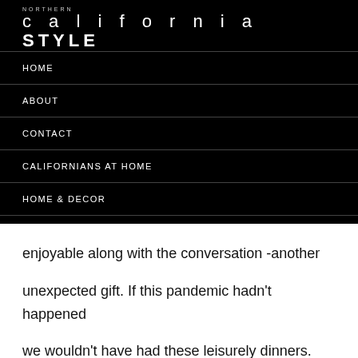NORTHERN california STYLE
HOME
ABOUT
CONTACT
CALIFORNIANS AT HOME
HOME & DECOR
MY CALIFORNIA CLOSET
enjoyable along with the conversation -another unexpected gift. If this pandemic hadn't happened we wouldn't have had these leisurely dinners. The